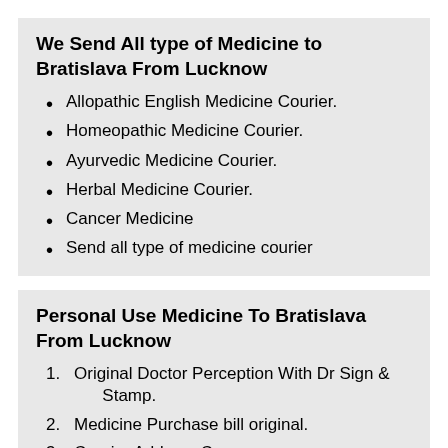We Send All type of Medicine to Bratislava From Lucknow
Allopathic English Medicine Courier.
Homeopathic Medicine Courier.
Ayurvedic Medicine Courier.
Herbal Medicine Courier.
Cancer Medicine
Send all type of medicine courier
Personal Use Medicine To Bratislava From Lucknow
Original Doctor Perception With Dr Sign & Stamp.
Medicine Purchase bill original.
Courier Address Copy.